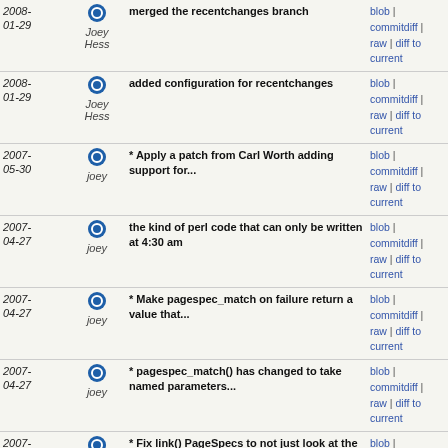| Date | Author | Message | Links |
| --- | --- | --- | --- |
| 2008-01-29 | Joey Hess | merged the recentchanges branch | blob | commitdiff | raw | diff to current |
| 2008-01-29 | Joey Hess | added configuration for recentchanges | blob | commitdiff | raw | diff to current |
| 2007-05-30 | joey | * Apply a patch from Carl Worth adding support for... | blob | commitdiff | raw | diff to current |
| 2007-04-27 | joey | the kind of perl code that can only be written at 4:30 am | blob | commitdiff | raw | diff to current |
| 2007-04-27 | joey | * Make pagespec_match on failure return a value that... | blob | commitdiff | raw | diff to current |
| 2007-04-27 | joey | * pagespec_match() has changed to take named parameters... | blob | commitdiff | raw | diff to current |
| 2007-03-21 | joey | * Fix link() PageSpecs to not just look at the raw... | blob | commitdiff | raw | diff to current |
| 2007-02-12 | joey | * Allow plugins to add new types of tests that can... | blob | commitdiff | raw | diff to current |
| 2007-02-07 | joey | fixes and more tests | blob | commitdiff | raw | diff to current |
| 2007-02-06 | joey | * Patch based on a patch from Ethan to support relative... | blob | commitdiff | raw | diff to current |